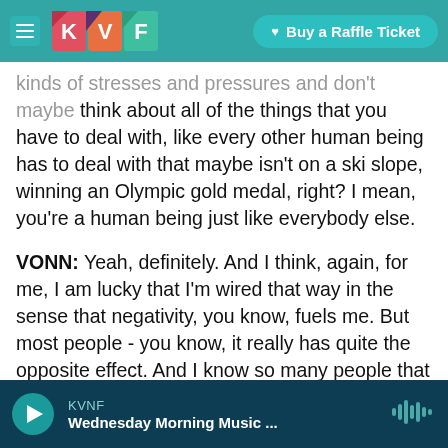[Figure (screenshot): KVNF radio website navigation bar with hamburger menu, KVF logo, and 'Buy a Raffle Ticket' button on a teal/turquoise background over a rocky landscape photo]
kinds of stresses and pressures and don't maybe think about all of the things that you have to deal with, like every other human being has to deal with that maybe isn't on a ski slope, winning an Olympic gold medal, right? I mean, you're a human being just like everybody else.
VONN: Yeah, definitely. And I think, again, for me, I am lucky that I'm wired that way in the sense that negativity, you know, fuels me. But most people - you know, it really has quite the opposite effect. And I know so many people that have so much talent but, you know, were never pushed in the right way, or supported in the right way. And their care ov
[Figure (screenshot): KVNF audio player bar at the bottom showing a play button, station name KVNF, program title 'Wednesday Morning Music ...' and a waveform icon on a dark teal background]